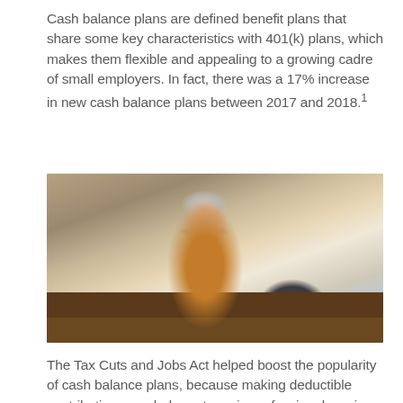Cash balance plans are defined benefit plans that share some key characteristics with 401(k) plans, which makes them flexible and appealing to a growing cadre of small employers. In fact, there was a 17% increase in new cash balance plans between 2017 and 2018.¹
[Figure (photo): A middle-aged woman with short gray hair and glasses, wearing an orange sweater, sitting at a cafe table. She is writing on paper and holding a tablet device. A coffee cup and water glass are on the table. The background shows a blurred cafe/restaurant interior.]
The Tax Cuts and Jobs Act helped boost the popularity of cash balance plans, because making deductible contributions can help partners in professional service firms and other business owners